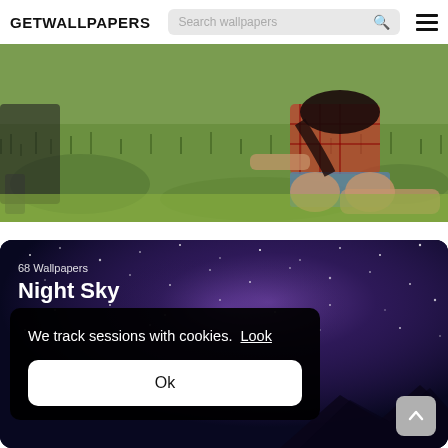GETWALLPAPERS
[Figure (photo): Outdoor grassy field scene with a person kneeling on grass wearing a plaid shirt and denim shorts, bending forward, and legs of another person visible on the left. Natural daylight photography.]
[Figure (photo): Night sky wallpaper card showing a galaxy/milky way scene with purple and dark blue starry sky. Label shows '68 Wallpapers' and title 'Night Sky'.]
68 Wallpapers
Night Sky
We track sessions with cookies.  Look
Ok